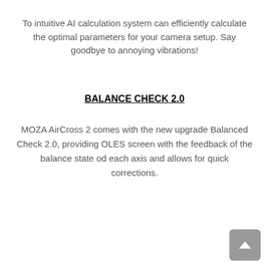To intuitive AI calculation system can efficiently calculate the optimal parameters for your camera setup. Say goodbye to annoying vibrations!
BALANCE CHECK 2.0
MOZA AirCross 2 comes with the new upgrade Balanced Check 2.0, providing OLES screen with the feedback of the balance state od each axis and allows for quick corrections.